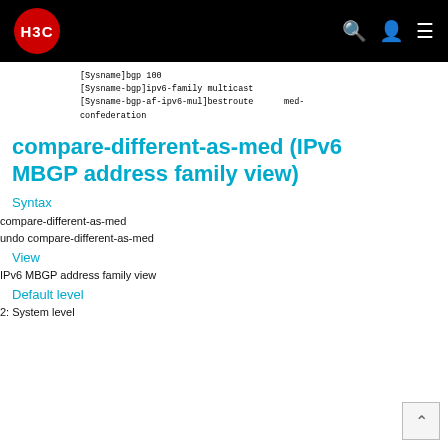H3C
[Sysname]bgp 100
[Sysname-bgp]ipv6-family multicast
[Sysname-bgp-af-ipv6-mul]bestroute      med-confederation
compare-different-as-med (IPv6 MBGP address family view)
Syntax
compare-different-as-med
undo compare-different-as-med
View
IPv6 MBGP address family view
Default level
2: System level